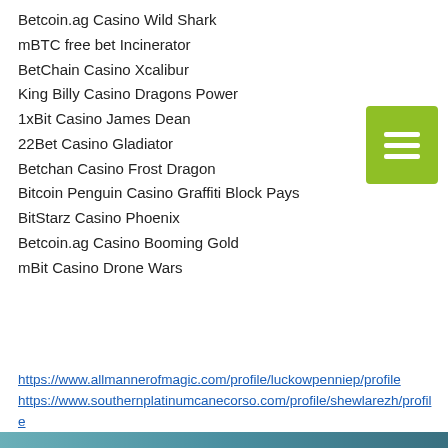Betcoin.ag Casino Wild Shark
mBTC free bet Incinerator
BetChain Casino Xcalibur
King Billy Casino Dragons Power
1xBit Casino James Dean
22Bet Casino Gladiator
Betchan Casino Frost Dragon
Bitcoin Penguin Casino Graffiti Block Pays
BitStarz Casino Phoenix
Betcoin.ag Casino Booming Gold
mBit Casino Drone Wars
https://www.allmannerofmagic.com/profile/luckowpenniep/profile
https://www.southernplatinumcanecorso.com/profile/shewlarezh/profile
https://pa.thebespokediaries.com/profile/kijakabes0/profile
https://www.simplybydiane.com/profile/grandgoodej/profile